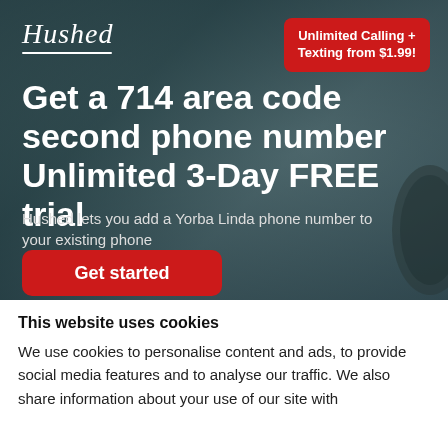[Figure (logo): Hushed logo in italic script font, white text on dark teal background]
Unlimited Calling + Texting from $1.99!
Get a 714 area code second phone number Unlimited 3-Day FREE trial
Hushed lets you add a Yorba Linda phone number to your existing phone
Get started
This website uses cookies
We use cookies to personalise content and ads, to provide social media features and to analyse our traffic. We also share information about your use of our site with